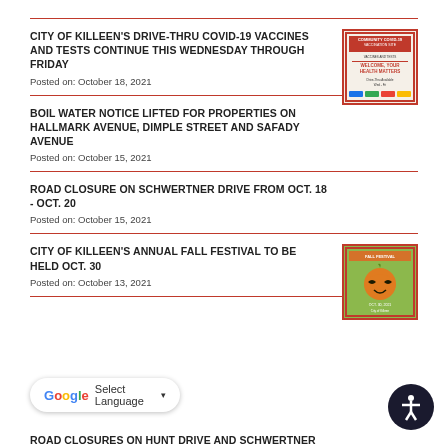CITY OF KILLEEN'S DRIVE-THRU COVID-19 VACCINES AND TESTS CONTINUE THIS WEDNESDAY THROUGH FRIDAY
Posted on: October 18, 2021
[Figure (other): COVID-19 vaccine and test flyer thumbnail]
BOIL WATER NOTICE LIFTED FOR PROPERTIES ON HALLMARK AVENUE, DIMPLE STREET AND SAFADY AVENUE
Posted on: October 15, 2021
ROAD CLOSURE ON SCHWERTNER DRIVE FROM OCT. 18 - OCT. 20
Posted on: October 15, 2021
CITY OF KILLEEN'S ANNUAL FALL FESTIVAL TO BE HELD OCT. 30
Posted on: October 13, 2021
[Figure (other): Fall Festival flyer thumbnail with pumpkin]
ROAD CLOSURES ON HUNT DRIVE AND SCHWERTNER